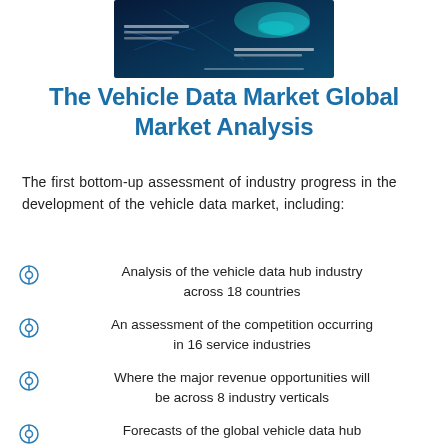[Figure (screenshot): Thumbnail image of a vehicle data market report cover with dark blue/teal digital background]
The Vehicle Data Market Global Market Analysis
The first bottom-up assessment of industry progress in the development of the vehicle data market, including:
Analysis of the vehicle data hub industry across 18 countries
An assessment of the competition occurring in 16 service industries
Where the major revenue opportunities will be across 8 industry verticals
Forecasts of the global vehicle data hub